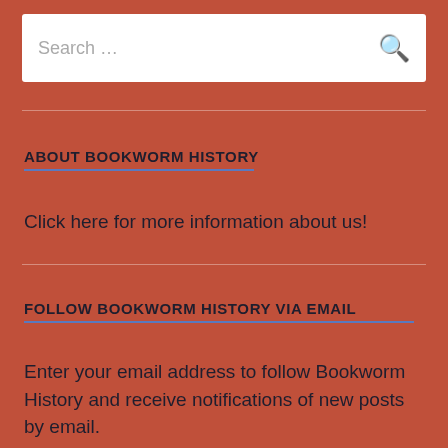[Figure (screenshot): Search bar with placeholder text 'Search ...' and a search icon on the right]
ABOUT BOOKWORM HISTORY
Click here for more information about us!
FOLLOW BOOKWORM HISTORY VIA EMAIL
Enter your email address to follow Bookworm History and receive notifications of new posts by email.